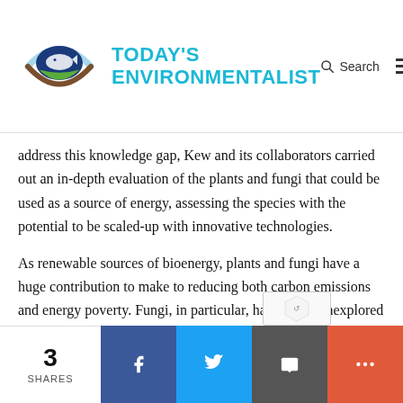[Figure (logo): Today's Environmentalist logo with a fish/leaf eye graphic and cyan text reading TODAY'S ENVIRONMENTALIST]
address this knowledge gap, Kew and its collaborators carried out an in-depth evaluation of the plants and fungi that could be used as a source of energy, assessing the species with the potential to be scaled-up with innovative technologies.
As renewable sources of bioenergy, plants and fungi have a huge contribution to make to reducing both carbon emissions and energy poverty. Fungi, in particular, have much unexplored potential within the bioenergy sector and a
3 SHARES | Facebook | Twitter | Email | More